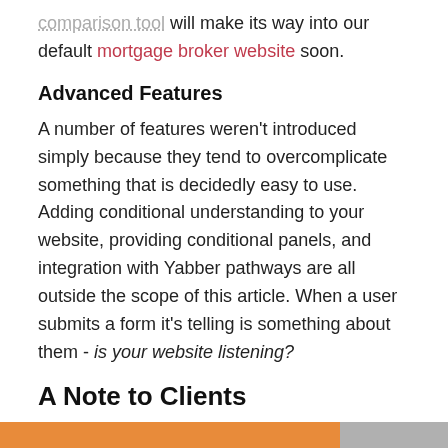comparison tool will make its way into our default mortgage broker website soon.
Advanced Features
A number of features weren't introduced simply because they tend to overcomplicate something that is decidedly easy to use. Adding conditional understanding to your website, providing conditional panels, and integration with Yabber pathways are all outside the scope of this article. When a user submits a form it's telling is something about them - is your website listening?
A Note to Clients